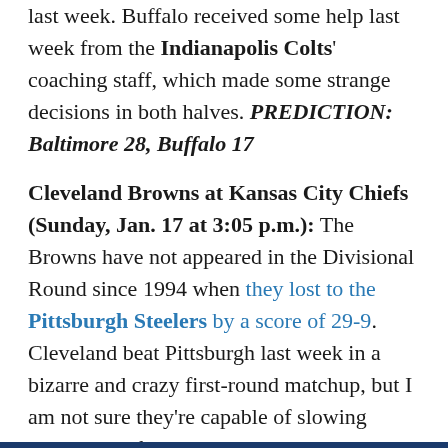last week. Buffalo received some help last week from the Indianapolis Colts' coaching staff, which made some strange decisions in both halves. PREDICTION: Baltimore 28, Buffalo 17
Cleveland Browns at Kansas City Chiefs (Sunday, Jan. 17 at 3:05 p.m.): The Browns have not appeared in the Divisional Round since 1994 when they lost to the Pittsburgh Steelers by a score of 29-9. Cleveland beat Pittsburgh last week in a bizarre and crazy first-round matchup, but I am not sure they're capable of slowing down the defending Super Bowl champions. Kansas City will push ahead for good early in the third quarter and secure a home date for the